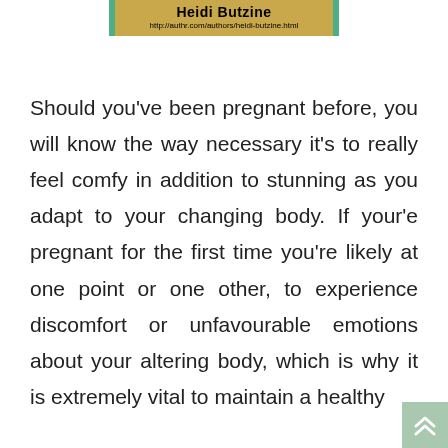[Figure (other): Author banner showing name Heidi Butzine and URL http://authr.com/authors/heidi-butzine.html on a tan/gold background with green side borders]
Should you've been pregnant before, you will know the way necessary it's to really feel comfy in addition to stunning as you adapt to your changing body. If your'e pregnant for the first time you're likely at one point or one other, to experience discomfort or unfavourable emotions about your altering body, which is why it is extremely vital to maintain a healthy